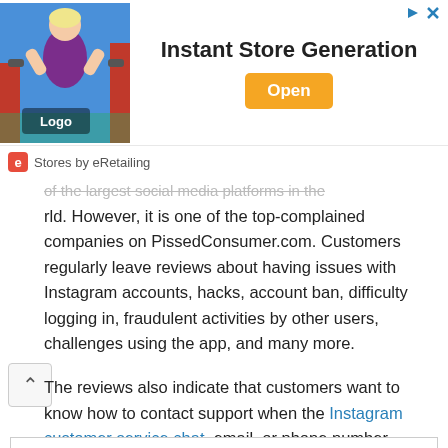[Figure (other): Advertisement banner: image of a woman in purple shirt lifting weights at a gym with 'Logo' overlay, text 'Instant Store Generation', orange 'Open' button, and 'Stores by eRetailing' footer with red 'e' icon.]
of the largest social media platforms in the world. However, it is one of the top-complained companies on PissedConsumer.com. Customers regularly leave reviews about having issues with Instagram accounts, hacks, account ban, difficulty logging in, fraudulent activities by other users, challenges using the app, and many more.
The reviews also indicate that customers want to know how to contact support when the Instagram customer service chat, email, or phone number doesn't help to get issues resolved. Here's a brief overview of the platform rating based on collected complaints.